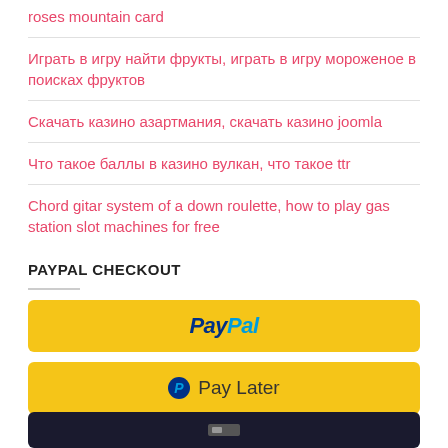roses mountain card
Играть в игру найти фрукты, играть в игру мороженое в поисках фруктов
Скачать казино азартмания, скачать казино joomla
Что такое баллы в казино вулкан, что такое ttr
Chord gitar system of a down roulette, how to play gas station slot machines for free
PAYPAL CHECKOUT
[Figure (other): PayPal checkout button (yellow background with PayPal logo)]
[Figure (other): Pay Later button (yellow background with PayPal P icon and Pay Later text)]
[Figure (other): Dark payment button (partially visible at bottom)]